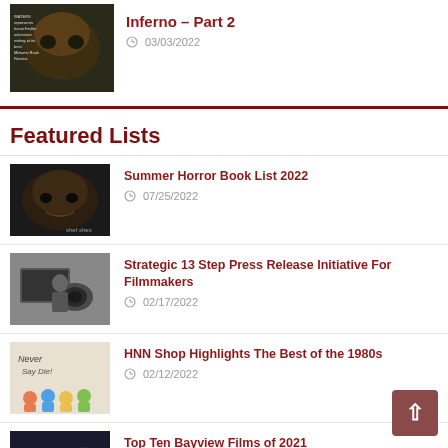Inferno – Part 2
03/03/2022
Featured Lists
Summer Horror Book List 2022 — 07/25/2022
Strategic 13 Step Press Release Initiative For Filmmakers — 02/17/2022
HNN Shop Highlights The Best of the 1980s — 02/12/2022
Top Ten Bayview Films of 2021 — 12/30/2021